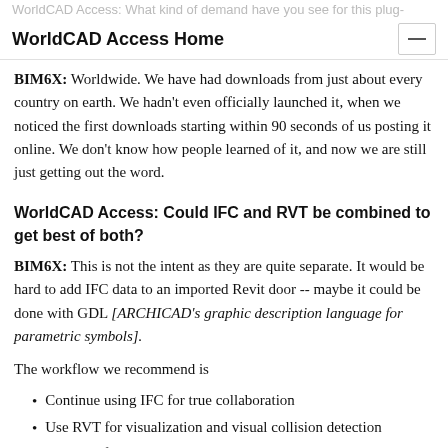WorldCAD Access: What kind of demand have you see for this plug-
WorldCAD Access Home
BIM6X: Worldwide. We have had downloads from just about every country on earth. We hadn't even officially launched it, when we noticed the first downloads starting within 90 seconds of us posting it online. We don't know how people learned of it, and now we are still just getting out the word.
WorldCAD Access: Could IFC and RVT be combined to get best of both?
BIM6X: This is not the intent as they are quite separate. It would be hard to add IFC data to an imported Revit door -- maybe it could be done with GDL [ARCHICAD's graphic description language for parametric symbols].
The workflow we recommend is
Continue using IFC for true collaboration
Use RVT for visualization and visual collision detection
Use RFA for parts available only in Revit